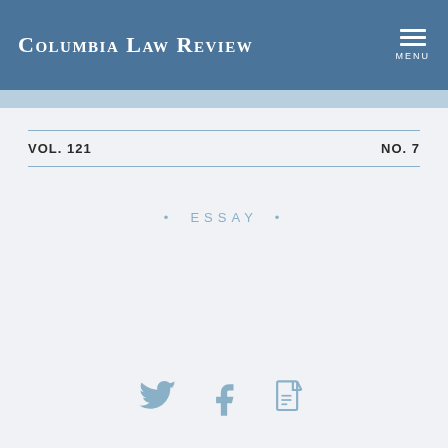Columbia Law Review
VOL. 121    NO. 7
• ESSAY •
[Figure (other): Social sharing icons: Twitter bird, Facebook f, PDF document icon]